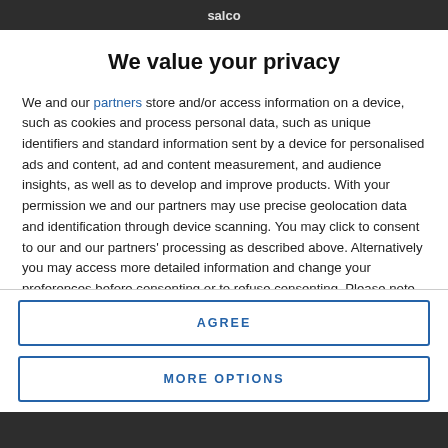salco
We value your privacy
We and our partners store and/or access information on a device, such as cookies and process personal data, such as unique identifiers and standard information sent by a device for personalised ads and content, ad and content measurement, and audience insights, as well as to develop and improve products. With your permission we and our partners may use precise geolocation data and identification through device scanning. You may click to consent to our and our partners' processing as described above. Alternatively you may access more detailed information and change your preferences before consenting or to refuse consenting. Please note that some processing of your personal data may not require your consent, but you have a right to
AGREE
MORE OPTIONS